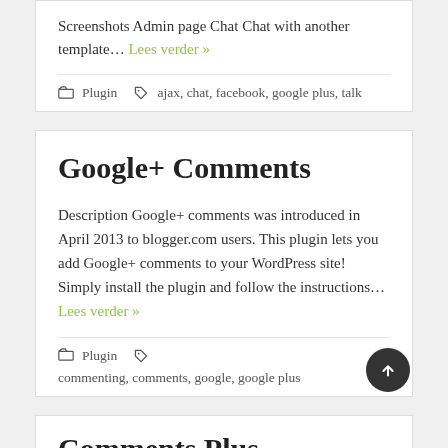Screenshots Admin page Chat Chat with another template… Lees verder »
Plugin  ajax, chat, facebook, google plus, talk
Google+ Comments
Description Google+ comments was introduced in April 2013 to blogger.com users. This plugin lets you add Google+ comments to your WordPress site! Simply install the plugin and follow the instructions… Lees verder »
Plugin  commenting, comments, google, google plus
Comments Plus (partial)